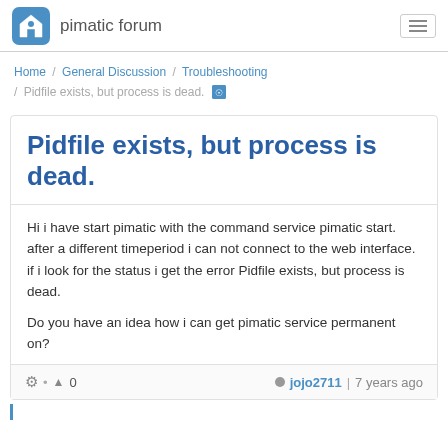pimatic forum
Home / General Discussion / Troubleshooting / Pidfile exists, but process is dead.
Pidfile exists, but process is dead.
Hi i have start pimatic with the command service pimatic start. after a different timeperiod i can not connect to the web interface. if i look for the status i get the error Pidfile exists, but process is dead.
Do you have an idea how i can get pimatic service permanent on?
jojo2711 | 7 years ago